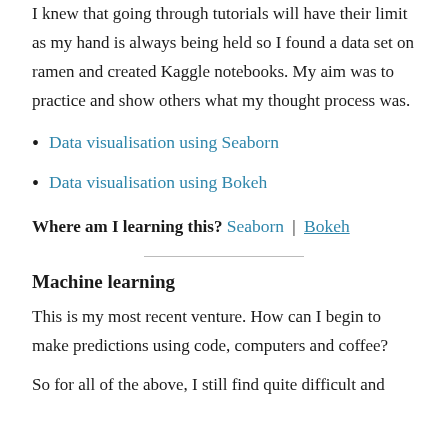I knew that going through tutorials will have their limit as my hand is always being held so I found a data set on ramen and created Kaggle notebooks. My aim was to practice and show others what my thought process was.
Data visualisation using Seaborn
Data visualisation using Bokeh
Where am I learning this? Seaborn | Bokeh
Machine learning
This is my most recent venture. How can I begin to make predictions using code, computers and coffee?
So for all of the above, I still find quite difficult and